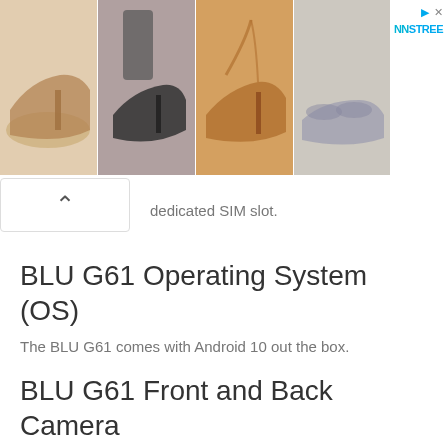[Figure (photo): Advertisement banner showing four images of women's shoes/footwear including heels and sneakers, with NNSTREE logo and close/skip controls]
dedicated SIM slot.
BLU G61 Operating System (OS)
The BLU G61 comes with Android 10 out the box.
BLU G61 Front and Back Camera
The BLU G61 makes use of a 13 MP + 0.3 MP back or rear camera with LED flash and a 8 MP front camera with LED flash light.
BLU G61 Battery Capacity